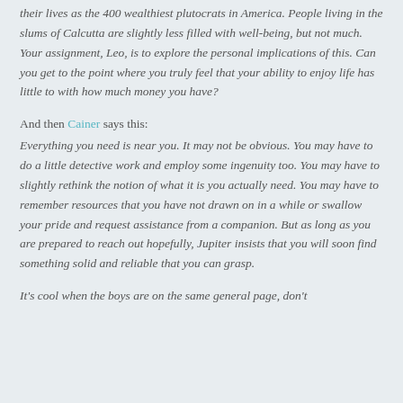their lives as the 400 wealthiest plutocrats in America. People living in the slums of Calcutta are slightly less filled with well-being, but not much. Your assignment, Leo, is to explore the personal implications of this. Can you get to the point where you truly feel that your ability to enjoy life has little to with how much money you have?
And then Cainer says this: Everything you need is near you. It may not be obvious. You may have to do a little detective work and employ some ingenuity too. You may have to slightly rethink the notion of what it is you actually need. You may have to remember resources that you have not drawn on in a while or swallow your pride and request assistance from a companion. But as long as you are prepared to reach out hopefully, Jupiter insists that you will soon find something solid and reliable that you can grasp.
It's cool when the boys are on the same general page, don't